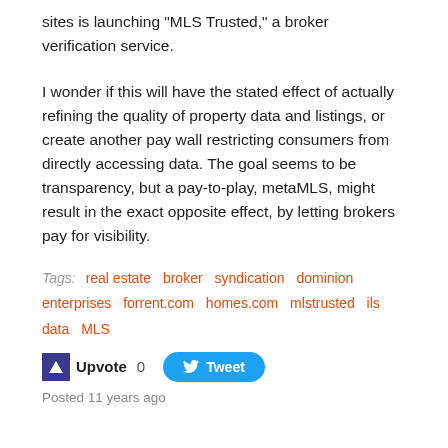sites is launching "MLS Trusted," a broker verification service.
I wonder if this will have the stated effect of actually refining the quality of property data and listings, or create another pay wall restricting consumers from directly accessing data. The goal seems to be transparency, but a pay-to-play, metaMLS, might result in the exact opposite effect, by letting brokers pay for visibility.
Tags: real estate  broker  syndication  dominion enterprises  forrent.com  homes.com  mlstrusted  ils  data  MLS
Upvote 0   Tweet
Posted 11 years ago
Then as Now — New York's Shifting Ethnic Mosaic
Tracking the changing makeup of the city.